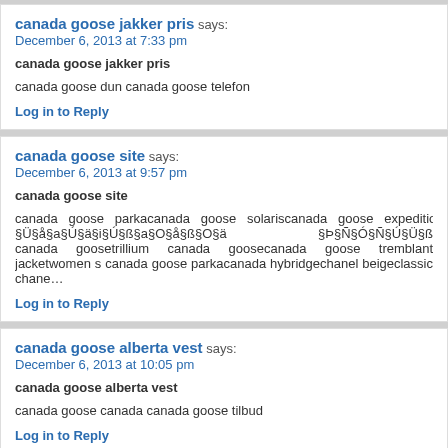canada goose jakker pris says: December 6, 2013 at 7:33 pm
canada goose jakker pris
canada goose dun canada goose telefon
Log in to Reply
canada goose site says: December 6, 2013 at 9:57 pm
canada goose site
canada goose parkacanada goose solariscanada goose expedition §Ü§å§a§Ú§ä§i§Ú§ß§a§O§å§ß§O§ä §Þ§Ñ§Ó§Ñ§Ú§Ü§ß canada goosetrillium canada goosecanada goose tremblant jacketwomen s canada goose parkacanada hybridgechanel beigeclassic chane…
Log in to Reply
canada goose alberta vest says: December 6, 2013 at 10:05 pm
canada goose alberta vest
canada goose canada canada goose tilbud
Log in to Reply